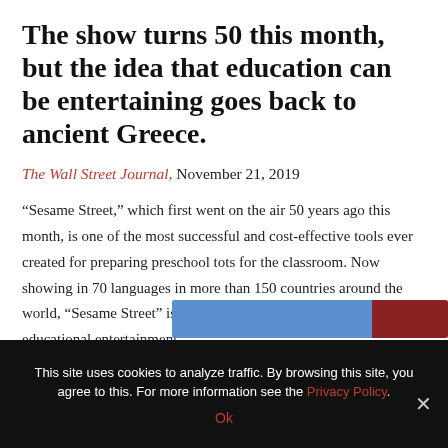The show turns 50 this month, but the idea that education can be entertaining goes back to ancient Greece.
The Wall Street Journal, November 21, 2019
“Sesame Street,” which first went on the air 50 years ago this month, is one of the most successful and cost-effective tools ever created for preparing preschool tots for the classroom. Now showing in 70 languages in more than 150 countries around the world, “Sesame Street” is that rare thing in a child’s life: truly educational entertainment.
Historically, those two...
[Figure (photo): Partially visible photo strip at the bottom of the article content area, showing a blue section and a dark reddish-brown section, likely a photo related to the article.]
This site uses cookies to analyze traffic. By browsing this site, you agree to this. For more information see the Privacy Policy.
Ok